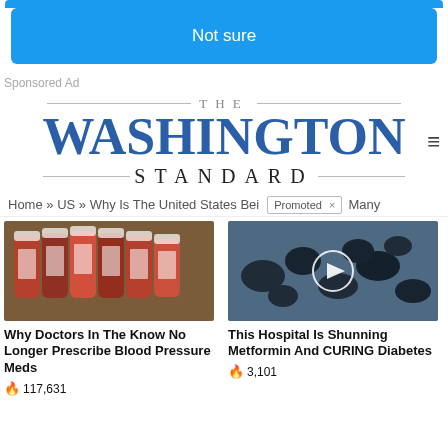Not sure
Sponsored Ad
[Figure (logo): The Washington Standard newspaper logo with hamburger menu icon]
Home » US » Why Is The United States Bei   Promoted  ×  Many
[Figure (photo): Row of prescription medicine bottles fanned out on a table]
Why Doctors In The Know No Longer Prescribe Blood Pressure Meds
🔥 117,631
[Figure (photo): Dark dried fruits or herbs on blue background with play button overlay]
This Hospital Is Shunning Metformin And CURING Diabetes
🔥 3,101